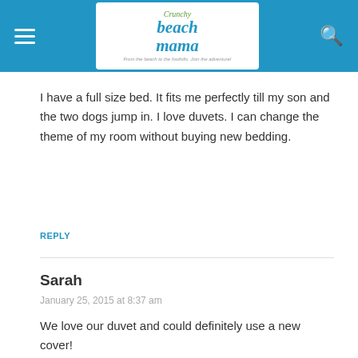Crunchy Beach Mama — From the beach to the foothills. Join the adventure!
I have a full size bed. It fits me perfectly till my son and the two dogs jump in. I love duvets. I can change the theme of my room without buying new bedding.
REPLY
Sarah
January 25, 2015 at 8:37 am
We love our duvet and could definitely use a new cover!
REPLY